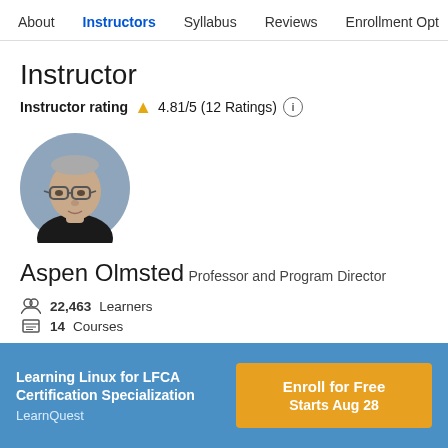About  Instructors  Syllabus  Reviews  Enrollment Opt
Instructor
Instructor rating  4.81/5 (12 Ratings) (i)
[Figure (photo): Circular profile photo of Aspen Olmsted, a man with glasses and a dark shirt against a grey background]
Aspen Olmsted
Professor and Program Director
22,463 Learners
14 Courses
Learning Linux for LFCA Certification Specialization  LearnQuest  Enroll for Free  Starts Aug 28